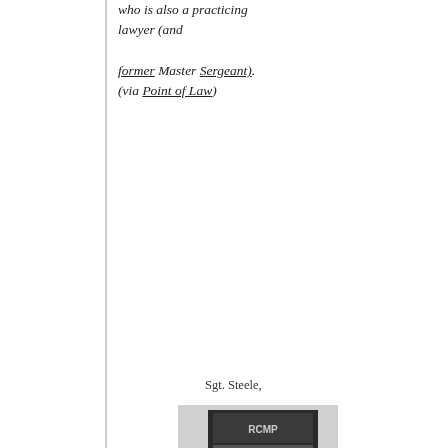who is also a practicing lawyer (and former Master Sergeant). (via Point of Law)
Sgt. Steele,
[Figure (photo): Black and white photo of a person in RCMP uniform saluting next to an RCMP book/poster cover]
original here
With ethicalEsq and Prof. Yabut back on emeritus/retired